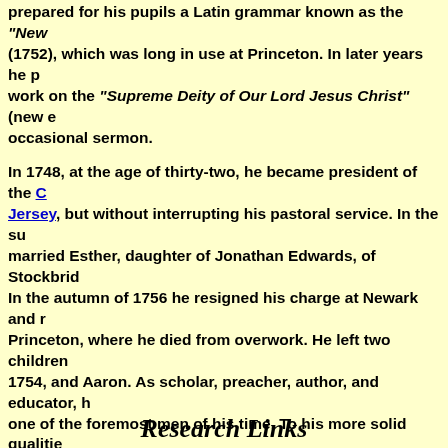prepared for his pupils a Latin grammar known as the "Newark" (1752), which was long in use at Princeton. In later years he published a work on the "Supreme Deity of Our Lord Jesus Christ" (new ed.) and an occasional sermon.
In 1748, at the age of thirty-two, he became president of the College of New Jersey, but without interrupting his pastoral service. In the summer of 1752 he married Esther, daughter of Jonathan Edwards, of Stockbridge, Massachusetts. In the autumn of 1756 he resigned his charge at Newark and removed to Princeton, where he died from overwork. He left two children: Esther, born in 1754, and Aaron. As scholar, preacher, author, and educator, he was regarded as one of the foremost men of his time. To his more solid qualities he added a certain grace and distinguished style of manner, which re-appeared in his son. Though nominally the second president of Princeton, he was practically the first, since the former. Jonathan Dickinson, only served for a few months. He was in true sense its founder, and the College may be said to be his monument. Two presidents are buried in Princeton by his side.
--His son, Aaron Burr, statesman, born in Newark, New Jersey, February 1756; died on Staten Island, New York, 14 September, 1836. --
Encyclopedia, by Louis K. - Upper St. Clair High School, Copyright © 2001 Vi...
Research Links